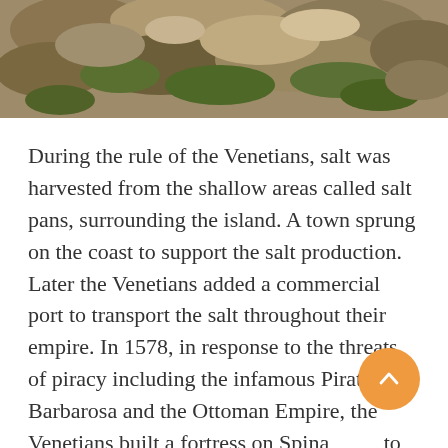[Figure (photo): Photograph of rocky terrain with moss and vegetation, cropped at the top of the page]
During the rule of the Venetians, salt was harvested from the shallow areas called salt pans, surrounding the island. A town sprung on the coast to support the salt production. Later the Venetians added a commercial  port to transport the salt throughout their empire. In 1578, in response to the threats of piracy including the infamous Pirate Barbarosa and the Ottoman Empire, the Venetians built a fortress on Spina to protect their interests in the are 1715, the Ottomans defeated the Venetians and took over control of Crete and Spinalonga. By 1903, the